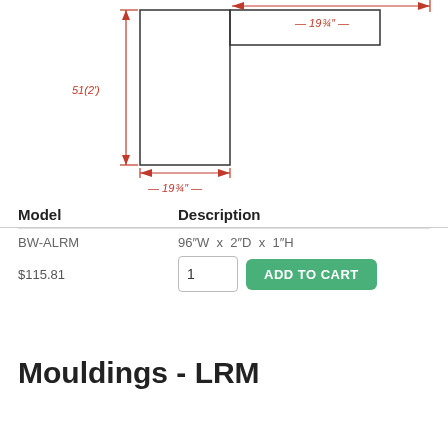[Figure (engineering-diagram): Technical drawing of a moulding profile shown in red and black lines with dimension annotations: 51(2") height, 19(3/4") width at top, 19(3/4") width at bottom.]
| Model | Description |
| --- | --- |
| BW-ALRM | 96"W x 2"D x 1"H |
| $115.81 | [qty:1] ADD TO CART |
Mouldings - LRM